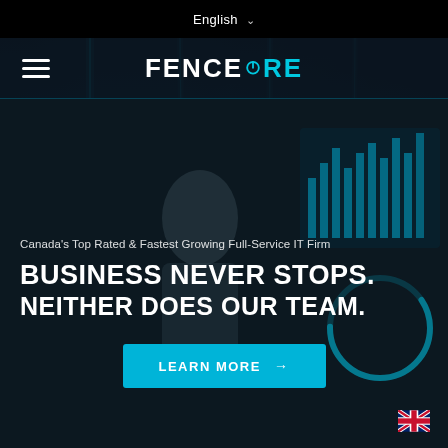English
[Figure (logo): FenceCore logo with hamburger menu icon on left, white FENCE and cyan CORE text with power button icon replacing the O]
[Figure (photo): Dark background photograph of a person in front of digital analytics screens with blue vertical glowing lines overlay]
Canada’s Top Rated & Fastest Growing Full-Service IT Firm
BUSINESS NEVER STOPS. NEITHER DOES OUR TEAM.
LEARN MORE →
[Figure (illustration): UK flag icon in bottom right corner]